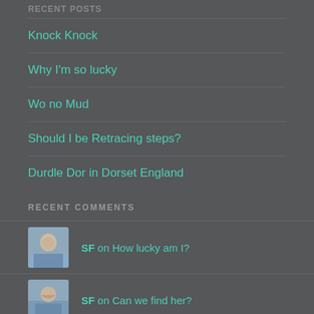RECENT POSTS
Knock Knock
Why I'm so lucky
Wo no Mud
Should I be Retracing steps?
Durdle Dor in Dorset England
RECENT COMMENTS
SF on How lucky am I?
SF on Can we find her?
Amar on Can we find her?